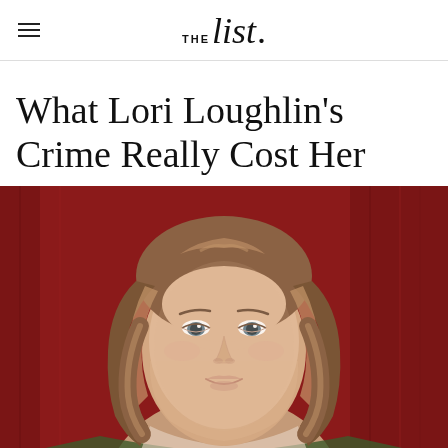THE list.
What Lori Loughlin's Crime Really Cost Her
[Figure (photo): Portrait photo of Lori Loughlin with wavy highlighted brown hair, wearing a floral top, set against a red curtain background. She has a serious expression.]